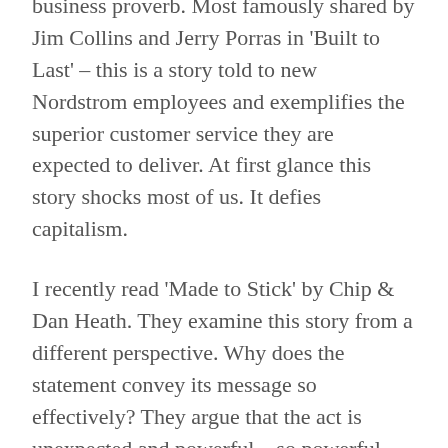business proverb. Most famously shared by Jim Collins and Jerry Porras in 'Built to Last' – this is a story told to new Nordstrom employees and exemplifies the superior customer service they are expected to deliver. At first glance this story shocks most of us. It defies capitalism.
I recently read 'Made to Stick' by Chip & Dan Heath. They examine this story from a different perspective. Why does the statement convey its message so effectively? They argue that the act is unexpected and powerful – so powerful that it changes the service paradigm in the mind of a new employee.